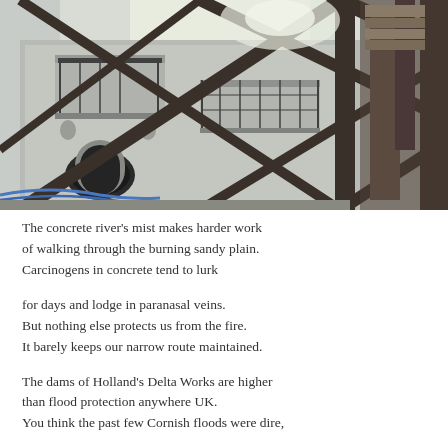[Figure (photo): Photograph taken from below looking up at a classical or neoclassical building exterior with ornate iron balconies and decorative stonework, partially obscured by a steel scaffolding or structural frame of criss-crossing dark metal beams. Blue cables visible at lower left. Overcast or bright sky visible above.]
The concrete river's mist makes harder work
of walking through the burning sandy plain.
Carcinogens in concrete tend to lurk

for days and lodge in paranasal veins.
But nothing else protects us from the fire.
It barely keeps our narrow route maintained.

The dams of Holland's Delta Works are higher
than flood protection anywhere UK.
You think the past few Cornish floods were dire,